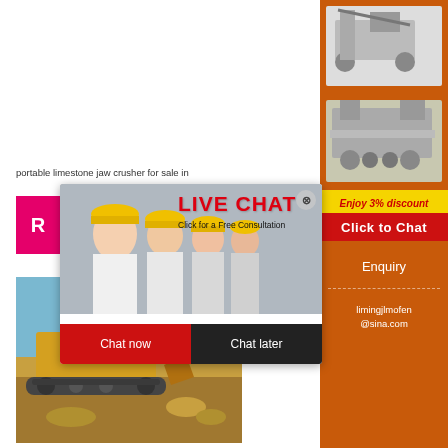[Figure (photo): Industrial machinery / ball mill closeup, gray industrial equipment on concrete]
limestone impact crusher suppliers in nigeria
portable limestone jaw crusher for sale in
[Figure (photo): Live chat popup overlay showing workers in hard hats with LIVE CHAT text, Click for a Free Consultation, Chat now and Chat later buttons]
[Figure (photo): Large yellow excavator/mining machine working at a quarry or open pit mine against blue sky]
[Figure (photo): Sidebar: crushing machinery equipment images]
Enjoy 3% discount
Click to Chat
Enquiry
limingjlmofen@sina.com